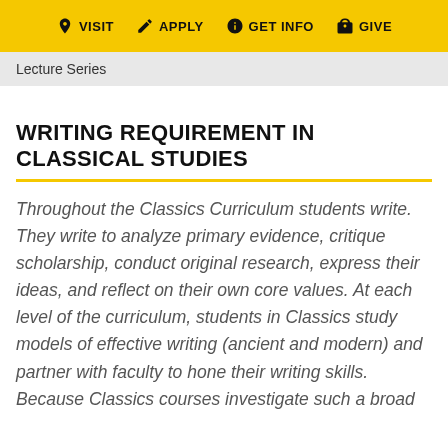VISIT   APPLY   GET INFO   GIVE
Lecture Series
WRITING REQUIREMENT IN CLASSICAL STUDIES
Throughout the Classics Curriculum students write. They write to analyze primary evidence, critique scholarship, conduct original research, express their ideas, and reflect on their own core values. At each level of the curriculum, students in Classics study models of effective writing (ancient and modern) and partner with faculty to hone their writing skills. Because Classics courses investigate such a broad